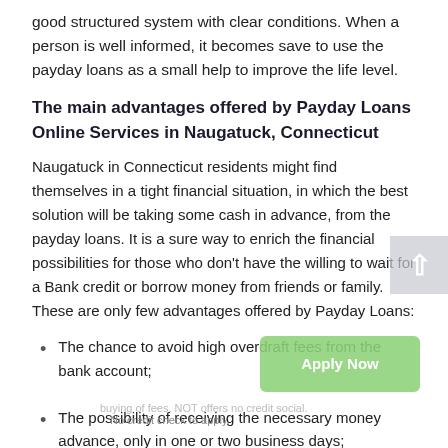good structured system with clear conditions. When a person is well informed, it becomes save to use the payday loans as a small help to improve the life level.
The main advantages offered by Payday Loans Online Services in Naugatuck, Connecticut
Naugatuck in Connecticut residents might find themselves in a tight financial situation, in which the best solution will be taking some cash in advance, from the payday loans. It is a sure way to enrich the financial possibilities for those who don't have the willing to wait for a Bank credit or borrow money from friends or family. These are only few advantages offered by Payday Loans:
The chance to avoid high overdraft fees from the bank account;
The possibility of receiving the necessary money advance, only in one or two business days;